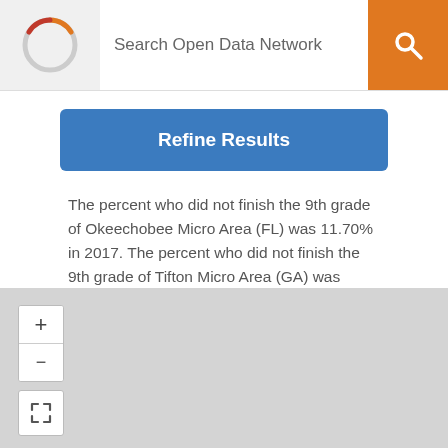Search Open Data Network
Refine Results
The percent who did not finish the 9th grade of Okeechobee Micro Area (FL) was 11.70% in 2017. The percent who did not finish the 9th grade of Tifton Micro Area (GA) was 5.70% in 2017.
[Figure (map): Interactive map area with zoom controls (+ and -) and fullscreen button]